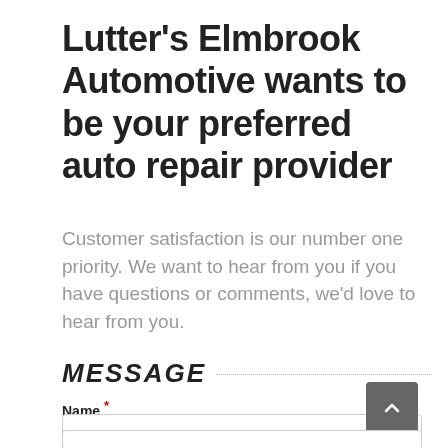Lutter's Elmbrook Automotive wants to be your preferred auto repair provider
Customer satisfaction is our number one priority. We want to hear from you if you have questions or comments, we'd love to hear from you.
MESSAGE
Name *
First